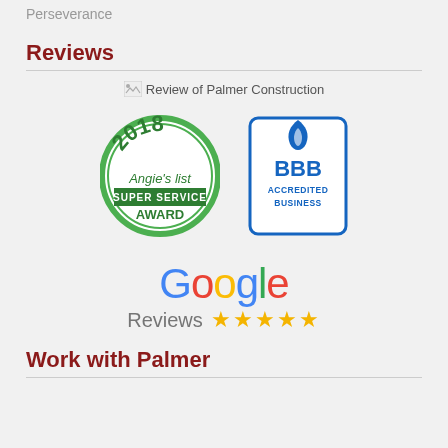Perseverance
Reviews
[Figure (logo): Broken image placeholder with alt text 'Review of Palmer Construction']
[Figure (logo): 2018 Angie's List Super Service Award badge (green circular badge)]
[Figure (logo): BBB Accredited Business badge (blue and white rectangular badge)]
[Figure (logo): Google Reviews with 5 gold stars]
Work with Palmer